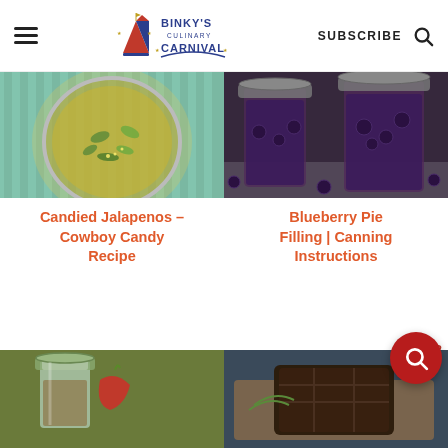Binky's Culinary Carnival — SUBSCRIBE
[Figure (photo): Top-down view of a jar of candied jalapenos (cowboy candy) on a teal striped background]
[Figure (photo): Two mason jars filled with blueberry pie filling on a white surface with fresh blueberries scattered around]
Candied Jalapenos – Cowboy Candy Recipe
Blueberry Pie Filling | Canning Instructions
[Figure (photo): Mason jars with canning lids and red peppers visible in background]
[Figure (photo): Dark chocolate dessert piece on a wooden cutting board]